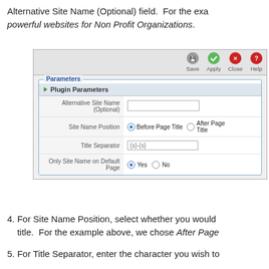Alternative Site Name (Optional) field.  For the example, powerful websites for Non Profit Organizations.
[Figure (screenshot): Screenshot of a CMS plugin parameters dialog showing toolbar buttons (Save, Apply, Close, Help) and a Parameters section with Plugin Parameters including: Alternative Site Name (Optional) text input, Site Name Position radio buttons (Before Page Title selected, After Page Title), Title Separator field showing {s}-{s}, and Only Site Name on Default Page radio buttons (Yes selected, No).]
4. For Site Name Position, select whether you would like the title.  For the example above, we chose After Page
5. For Title Separator, enter the character you wish to